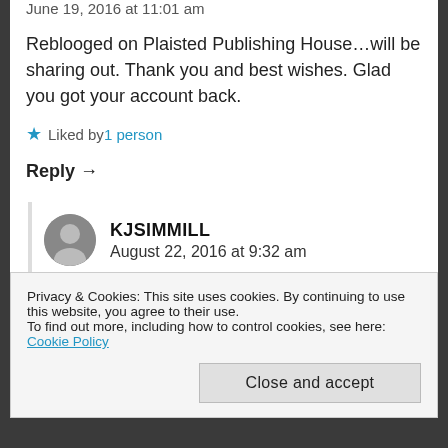June 19, 2016 at 11:01 am
Reblooged on Plaisted Publishing House…will be sharing out. Thank you and best wishes. Glad you got your account back.
★ Liked by 1 person
Reply →
KJSIMMILL
August 22, 2016 at 9:32 am
Privacy & Cookies: This site uses cookies. By continuing to use this website, you agree to their use.
To find out more, including how to control cookies, see here: Cookie Policy